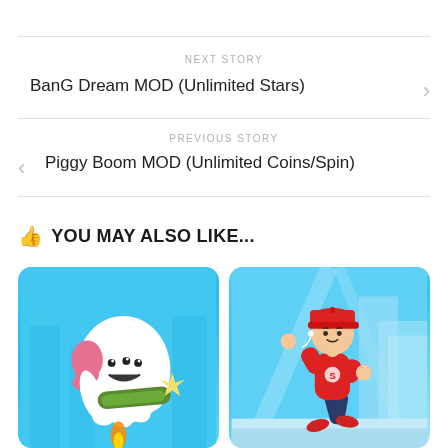NEXT STORY
BanG Dream MOD (Unlimited Stars)
PREVIOUS STORY
Piggy Boom MOD (Unlimited Coins/Spin)
YOU MAY ALSO LIKE...
[Figure (photo): Game app icon - white blob character holding a rocket launcher on blue background]
[Figure (photo): Game app icon - cartoon boy in red outfit running on blue background with city blocks]